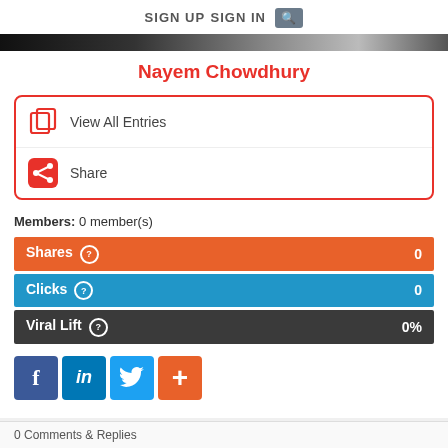SIGN UP   SIGN IN   🔍
Nayem Chowdhury
View All Entries
Share
Members: 0 member(s)
Shares  0
Clicks  0
Viral Lift  0%
[Figure (infographic): Social share buttons: Facebook, LinkedIn, Twitter, and a plus/more button]
0 Comments & Replies